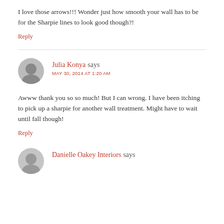I love those arrows!!! Wonder just how smooth your wall has to be for the Sharpie lines to look good though?!
Reply
Julia Konya says
MAY 30, 2014 AT 1:20 AM
Awww thank you so so much! But I can wrong. I have been itching to pick up a sharpie for another wall treatment. Might have to wait until fall though!
Reply
Danielle Oakey Interiors says